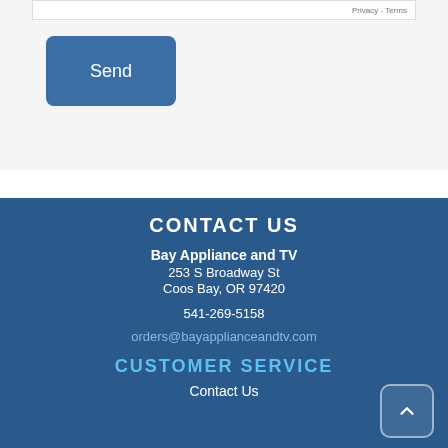Privacy - Terms
Send
CONTACT US
Bay Appliance and TV
253 S Broadway St
Coos Bay, OR 97420
541-269-5158
orders@bayapplianceandtv.com
CUSTOMER SERVICE
Contact Us